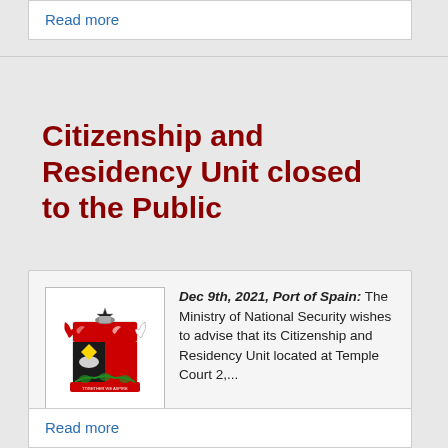Read more
Citizenship and Residency Unit closed to the Public
Dec 9th, 2021, Port of Spain: The Ministry of National Security wishes to advise that its Citizenship and Residency Unit located at Temple Court 2,...
[Figure (logo): Trinidad and Tobago coat of arms / national emblem logo]
Like 0  Tweet  Share  5
Read more